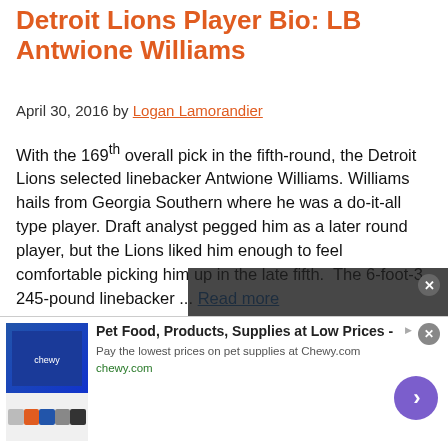Detroit Lions Player Bio: LB Antwione Williams
April 30, 2016 by Logan Lamorandier
With the 169th overall pick in the fifth-round, the Detroit Lions selected linebacker Antwione Williams. Williams hails from Georgia Southern where he was a do-it-all type player. Draft analyst pegged him as a later round player, but the Lions liked him enough to feel comfortable picking him up in the late fifth. The 6-foot-3, 245-pound linebacker ... Read more
[Figure (other): Video player overlay showing 'No compatible source was found for this media.' message with X close button and Read more link]
[Figure (other): Advertisement banner for Chewy.com: Pet Food, Products, Supplies at Low Prices - Pay the lowest prices on pet supplies at Chewy.com]